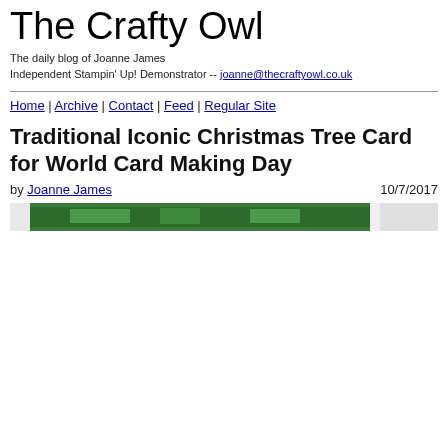The Crafty Owl
The daily blog of Joanne James
Independent Stampin' Up! Demonstrator -- joanne@thecraftyowl.co.uk
Home | Archive | Contact | Feed | Regular Site
Traditional Iconic Christmas Tree Card for World Card Making Day
by Joanne James   10/7/2017
[Figure (photo): Partial view of a Christmas card image with green and white colors, cropped at the bottom of the page]